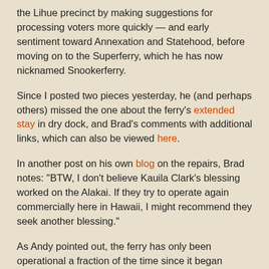the Lihue precinct by making suggestions for processing voters more quickly — and early sentiment toward Annexation and Statehood, before moving on to the Superferry, which he has now nicknamed Snookerferry.
Since I posted two pieces yesterday, he (and perhaps others) missed the one about the ferry's extended stay in dry dock, and Brad's comments with additional links, which can also be viewed here.
In another post on his own blog on the repairs, Brad notes: "BTW, I don't believe Kauila Clark's blessing worked on the Alakai. If they try to operate again commercially here in Hawaii, I might recommend they seek another blessing."
As Andy pointed out, the ferry has only been operational a fraction of the time since it began service.
"Why is it still here?" he asked. Good question. How much longer will this charade of it providing the Islands with an alternative source of transportation continue?